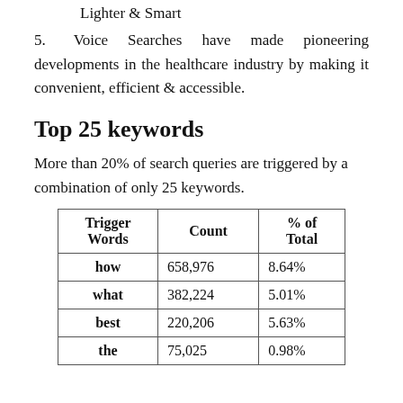Lighter & Smart
Voice Searches have made pioneering developments in the healthcare industry by making it convenient, efficient & accessible.
Top 25 keywords
More than 20% of search queries are triggered by a combination of only 25 keywords.
| Trigger Words | Count | % of Total |
| --- | --- | --- |
| how | 658,976 | 8.64% |
| what | 382,224 | 5.01% |
| best | 220,206 | 5.63% |
| the | 75,025 | 0.98% |